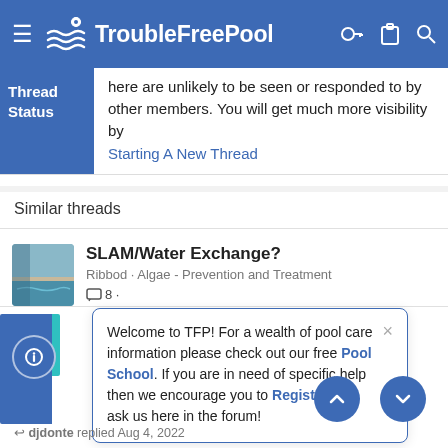TroubleFreePool
here are unlikely to be seen or responded to by other members. You will get much more visibility by Starting A New Thread
Similar threads
SLAM/Water Exchange?
Ribbod · Algae - Prevention and Treatment
8
Welcome to TFP! For a wealth of pool care information please check out our free Pool School. If you are in need of specific help then we encourage you to Register and ask us here in the forum!
djdonte replied Aug 4, 2022